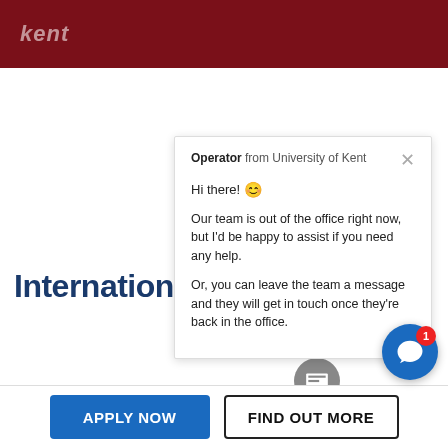kent
Internation…
[Figure (screenshot): Chat operator popup from University of Kent with greeting message and offline message options]
T: +44 (0)1227 823254
APPLY NOW
FIND OUT MORE